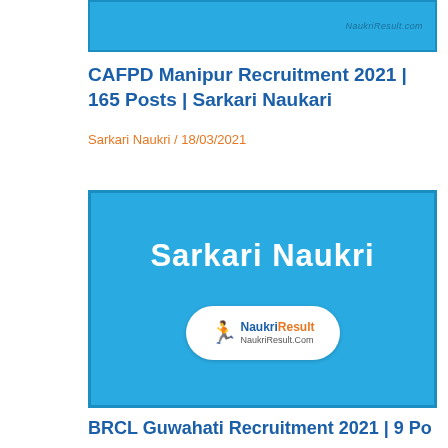[Figure (screenshot): Top partial image of Sarkari Naukri / NaukriResult.com banner in blue]
CAFPD Manipur Recruitment 2021 | 165 Posts | Sarkari Naukari
Sarkari Naukri / 18/03/2021
[Figure (illustration): Sarkari Naukri banner image with NaukriResult.com logo on blue background]
BRCL Guwahati Recruitment 2021 | 9 Posts |